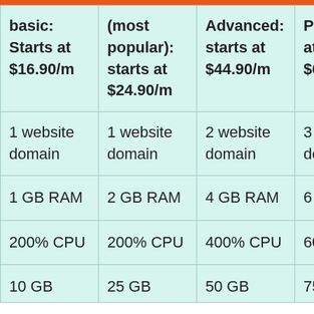| basic: | (most popular): | Advanced: | Pro: |
| --- | --- | --- | --- |
| basic:
Starts at
$16.90/m | (most popular):
starts at
$24.90/m | Advanced:
starts at
$44.90/m | Pro:
at
$64. |
| 1 website domain | 1 website domain | 2 website domain | 3 we dom |
| 1 GB RAM | 2 GB RAM | 4 GB RAM | 6 GB |
| 200% CPU | 200% CPU | 400% CPU | 600% |
| 10 GB | 25 GB | 50 GB | 75 G |